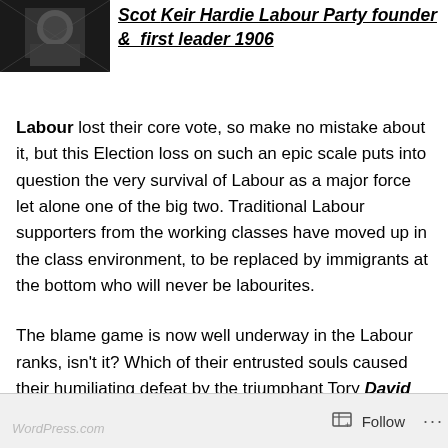[Figure (photo): Black and white photograph of Keir Hardie]
Scot Keir Hardie Labour Party founder & first leader 1906
Labour lost their core vote, so make no mistake about it, but this Election loss on such an epic scale puts into question the very survival of Labour as a major force let alone one of the big two. Traditional Labour supporters from the working classes have moved up in the class environment, to be replaced by immigrants at the bottom who will never be labourites.
The blame game is now well underway in the Labour ranks, isn't it? Which of their entrusted souls caused their humiliating defeat by the triumphant Tory David Cameron, eh?
Follow